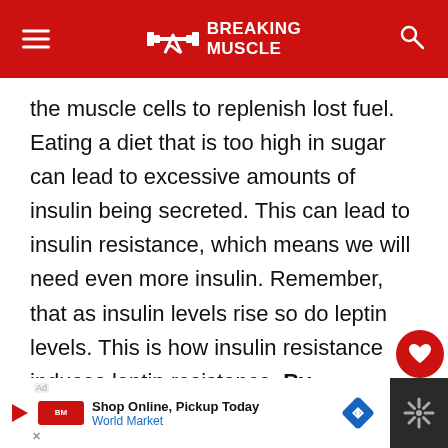BREAKING MUSCLE
the muscle cells to replenish lost fuel. Eating a diet that is too high in sugar can lead to excessive amounts of insulin being secreted. This can lead to insulin resistance, which means we will need even more insulin. Remember, that as insulin levels rise so do leptin levels. This is how insulin resistance induces leptin resistance. By reestablishing insulin sensitivity we will not need as much insulin in response to ingested glucose and as a result we will have lower leptin levels.
[Figure (other): Advertisement banner: Shop Online, Pickup Today - World Market with navigation arrow icon and Walmart logo on right]